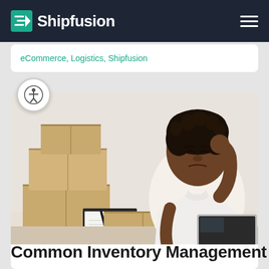Shipfusion
eCommerce, Logistics, Shipfusion
[Figure (photo): A woman in a white shirt looking stressed, sitting at a desk with stacked cardboard boxes, a clipboard with a pen, and a laptop. She has one hand raised to her head in frustration.]
Common Inventory Management